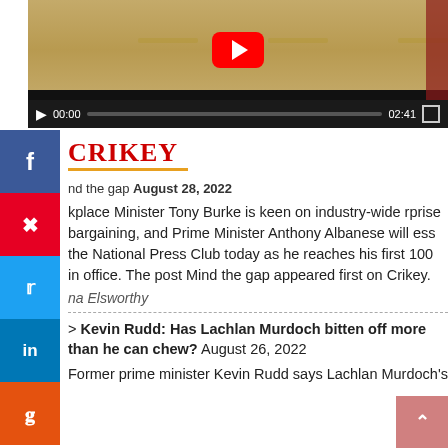[Figure (screenshot): YouTube video player embedded on a webpage showing a curtain/stage background. Controls show 00:00 current time and 02:41 total duration.]
[Figure (infographic): Social media sharing sidebar with Facebook, Pinterest, Twitter, LinkedIn, and StumbleUpon buttons]
CRIKEY
nd the gap August 28, 2022
kplace Minister Tony Burke is keen on industry-wide rprise bargaining, and Prime Minister Anthony Albanese will ess the National Press Club today as he reaches his first 100 in office. The post Mind the gap appeared first on Crikey.
na Elsworthy
> Kevin Rudd: Has Lachlan Murdoch bitten off more than he can chew? August 26, 2022
Former prime minister Kevin Rudd says Lachlan Murdoch's